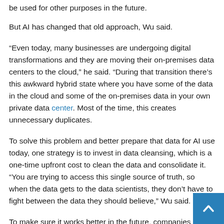be used for other purposes in the future.
But AI has changed that old approach, Wu said.
“Even today, many businesses are undergoing digital transformations and they are moving their on-premises data centers to the cloud,” he said. “During that transition there’s this awkward hybrid state where you have some of the data in the cloud and some of the on-premises data in your own private data center. Most of the time, this creates unnecessary duplicates.
To solve this problem and better prepare that data for AI use today, one strategy is to invest in data cleansing, which is a one-time upfront cost to clean the data and consolidate it. “You are trying to access this single source of truth, so when the data gets to the data scientists, they don’t have to fight between the data they should believe,” Wu said.
To make sure it works better in the future, companies need to